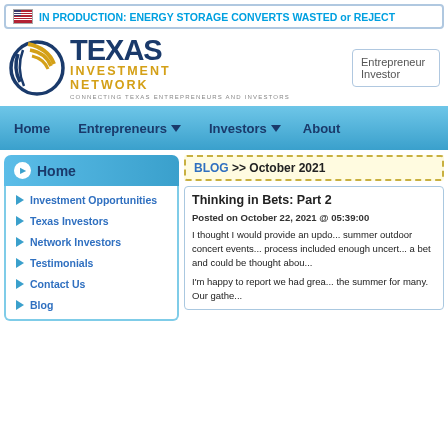IN PRODUCTION: ENERGY STORAGE CONVERTS WASTED or REJECT
[Figure (logo): Texas Investment Network logo with circular graphic and tagline CONNECTING TEXAS ENTREPRENEURS AND INVESTORS]
Entrepreneur
Investor
Home  Entrepreneurs  Investors  About
Home
Investment Opportunities
Texas Investors
Network Investors
Testimonials
Contact Us
Blog
BLOG >> October 2021
Thinking in Bets: Part 2
Posted on October 22, 2021 @ 05:39:00
I thought I would provide an updo... summer outdoor concert events... process included enough uncert... a bet and could be thought abou...
I'm happy to report we had grea... the summer for many. Our gathe...